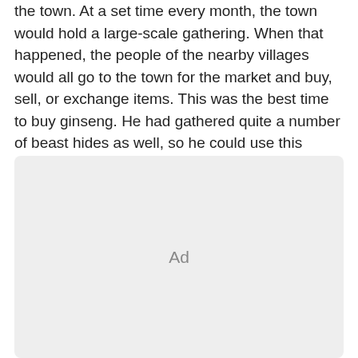the town. At a set time every month, the town would hold a large-scale gathering. When that happened, the people of the nearby villages would all go to the town for the market and buy, sell, or exchange items. This was the best time to buy ginseng. He had gathered quite a number of beast hides as well, so he could use this opportunity to get them off his hands.
[Figure (other): Advertisement placeholder box with 'Ad' label centered in a light gray rounded rectangle]